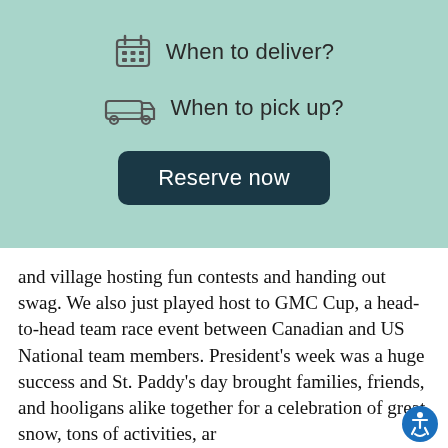When to deliver?
When to pick up?
Reserve now
and village hosting fun contests and handing out swag. We also just played host to GMC Cup, a head-to-head team race event between Canadian and US National team members. President's week was a huge success and St. Paddy's day brought families, friends, and hooligans alike together for a celebration of great snow, tons of activities, ar